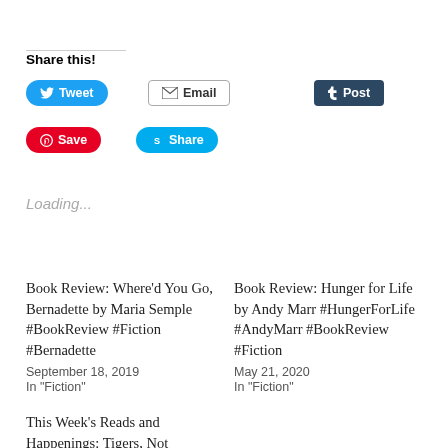Share this!
Tweet  Email  Post  Save  Share
Loading...
Book Review: Where'd You Go, Bernadette by Maria Semple #BookReview #Fiction #Bernadette
September 18, 2019
In "Fiction"
Book Review: Hunger for Life by Andy Marr #HungerForLife #AndyMarr #BookReview #Fiction
May 21, 2020
In "Fiction"
This Week's Reads and Happenings: Tigers, Not